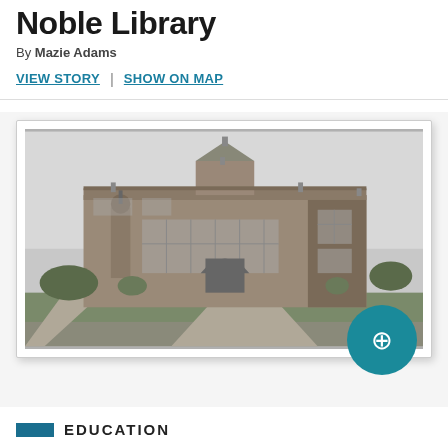Noble Library
By Mazie Adams
VIEW STORY | SHOW ON MAP
[Figure (photo): Black and white historical photograph of Noble Library building, a large brick building with ornate architectural details, arched windows, and decorative towers, with a lawn and pathway in front.]
EDUCATION